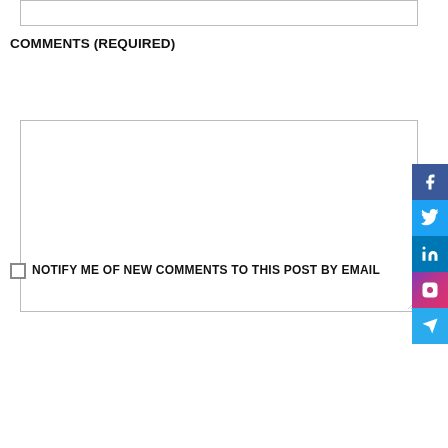[Figure (screenshot): Top input text box (partially visible, no label)]
COMMENTS (REQUIRED)
[Figure (screenshot): Large multi-line text area for comments input]
NOTIFY ME OF NEW COMMENTS TO THIS POST BY EMAIL
[Figure (screenshot): Submit button in teal/blue color]
[Figure (infographic): Social media sharing icons on the right side: Facebook, Twitter, LinkedIn, Instagram, Telegram]